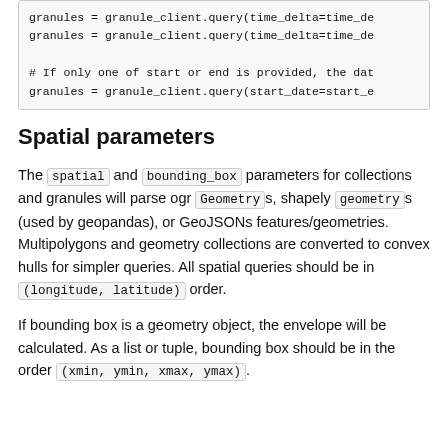[Figure (screenshot): Code block showing granule_client.query calls and a comment about start or end date]
Spatial parameters
The spatial and bounding_box parameters for collections and granules will parse ogr Geometry s, shapely geometry s (used by geopandas), or GeoJSONs features/geometries. Multipolygons and geometry collections are converted to convex hulls for simpler queries. All spatial queries should be in (longitude, latitude) order.
If bounding box is a geometry object, the envelope will be calculated. As a list or tuple, bounding box should be in the order (xmin, ymin, xmax, ymax).